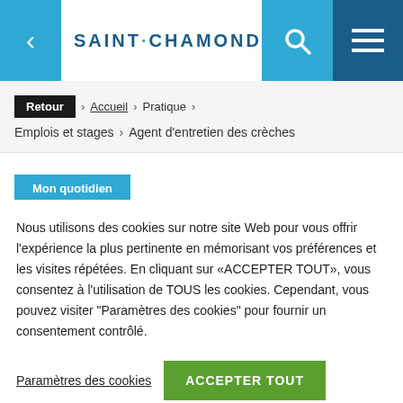SAINT·CHAMOND
Retour > Accueil > Pratique > Emplois et stages > Agent d'entretien des crèches
Mon quotidien
Nous utilisons des cookies sur notre site Web pour vous offrir l'expérience la plus pertinente en mémorisant vos préférences et les visites répétées. En cliquant sur «ACCEPTER TOUT», vous consentez à l'utilisation de TOUS les cookies. Cependant, vous pouvez visiter "Paramètres des cookies" pour fournir un consentement contrôlé.
Paramètres des cookies | ACCEPTER TOUT